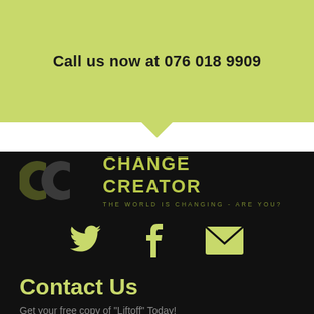Call us now at 076 018 9909
[Figure (logo): Change Creator logo with two interlocking C shapes and tagline THE WORLD IS CHANGING - ARE YOU?]
[Figure (infographic): Social media icons: Twitter bird, Facebook f, and email envelope in yellow-green color]
Contact Us
Get your free copy of "Liftoff" Today!